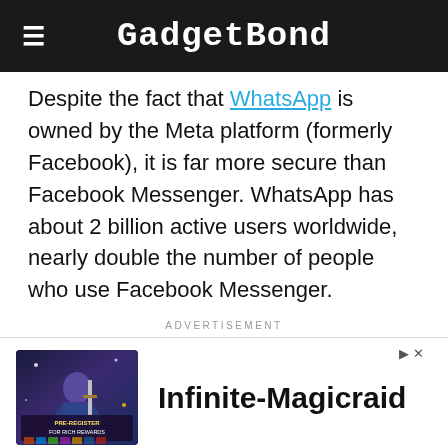GadgetBond
Despite the fact that WhatsApp is owned by the Meta platform (formerly Facebook), it is far more secure than Facebook Messenger. WhatsApp has about 2 billion active users worldwide, nearly double the number of people who use Facebook Messenger.
ADVERTISEMENT
[Figure (illustration): Advertisement banner for Infinite-Magicraid game showing a fantasy character with text 'PRE-REGISTER FOR RICH REWARDS' and the game title 'Infinite-Magicraid']